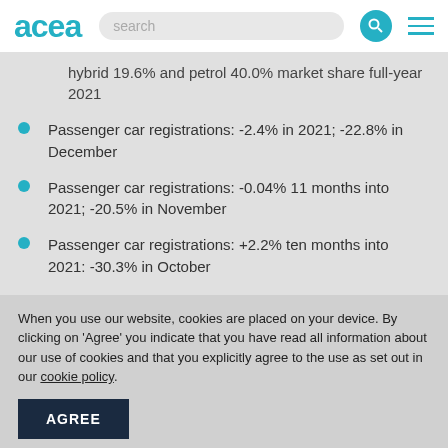acea
hybrid 19.6% and petrol 40.0% market share full-year 2021
Passenger car registrations: -2.4% in 2021; -22.8% in December
Passenger car registrations: -0.04% 11 months into 2021; -20.5% in November
Passenger car registrations: +2.2% ten months into 2021: -30.3% in October
When you use our website, cookies are placed on your device. By clicking on 'Agree' you indicate that you have read all information about our use of cookies and that you explicitly agree to the use as set out in our cookie policy.
AGREE